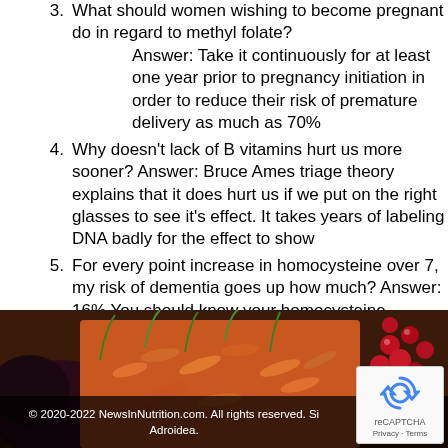3. What should women wishing to become pregnant do in regard to methyl folate? Answer: Take it continuously for at least one year prior to pregnancy initiation in order to reduce their risk of premature delivery as much as 70%
4. Why doesn't lack of B vitamins hurt us more sooner? Answer: Bruce Ames triage theory explains that it does hurt us if we put on the right glasses to see it's effect. It takes years of labeling DNA badly for the effect to show
5. For every point increase in homocysteine over 7, my risk of dementia goes up how much? Answer: 16% You should know your homocysteine. Always.
[Figure (photo): Photo of colorful vegetables including carrots, eggplant, and red berries/cherries]
© 2020-2022 NewsInNutrition.com. All rights reserved. Site by Adroidea.